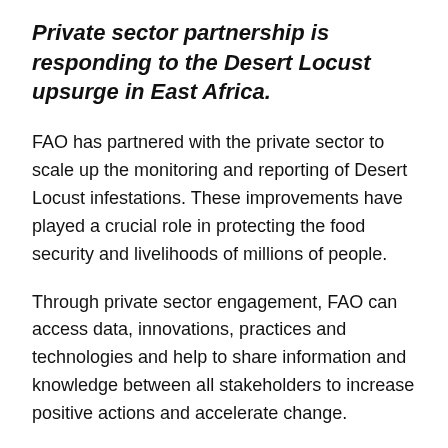Private sector partnership is responding to the Desert Locust upsurge in East Africa.
FAO has partnered with the private sector to scale up the monitoring and reporting of Desert Locust infestations. These improvements have played a crucial role in protecting the food security and livelihoods of millions of people.
Through private sector engagement, FAO can access data, innovations, practices and technologies and help to share information and knowledge between all stakeholders to increase positive actions and accelerate change.